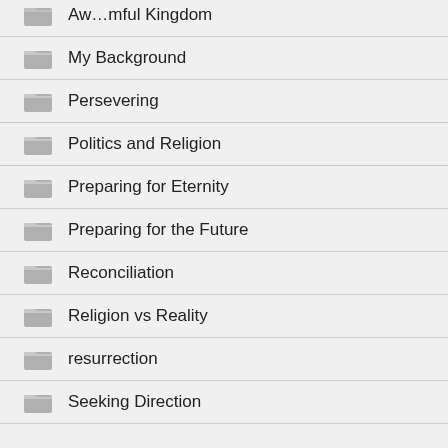My Background
Persevering
Politics and Religion
Preparing for Eternity
Preparing for the Future
Reconciliation
Religion vs Reality
resurrection
Seeking Direction